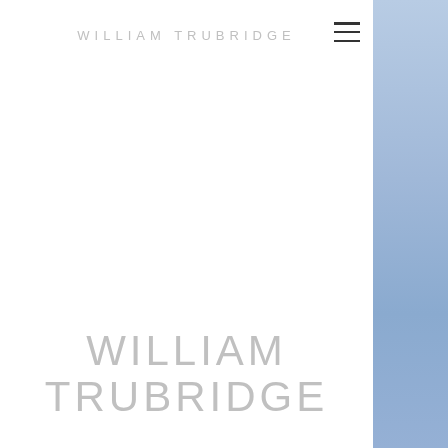WILLIAM TRUBRIDGE
WILLIAM TRUBRIDGE